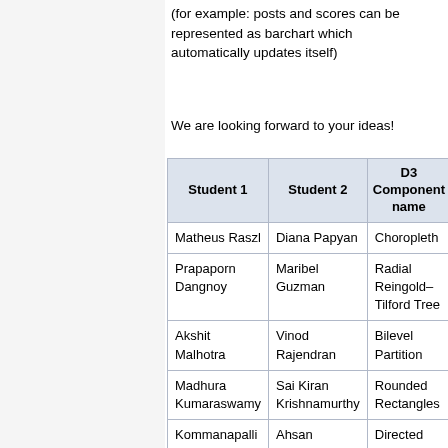(for example: posts and scores can be represented as barchart which automatically updates itself)
We are looking forward to your ideas!
| Student 1 | Student 2 | D3 Component name |  |
| --- | --- | --- | --- |
| Matheus Raszl | Diana Papyan | Choropleth | h |
| Prapaporn Dangnoy | Maribel Guzman | Radial Reingold–Tilford Tree | h |
| Akshit Malhotra | Vinod Rajendran | Bilevel Partition | h |
| Madhura Kumaraswamy | Sai Kiran Krishnamurthy | Rounded Rectangles | h |
| Kommanapalli Vasantha Kumari | Ahsan Ziaullah | Directed Graph Editor | h |
| Anuradha Ganapathi Rathnachalam |  | Sequences Sunburst | h |